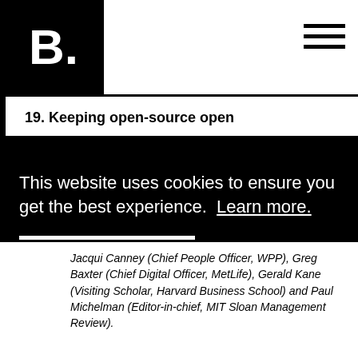B.
19. Keeping open-source open
This website uses cookies to ensure you get the best experience. Learn more.
Ok
No, thanks.
Jacqui Canney (Chief People Officer, WPP), Greg Baxter (Chief Digital Officer, MetLife), Gerald Kane (Visiting Scholar, Harvard Business School) and Paul Michelman (Editor-in-chief, MIT Sloan Management Review).